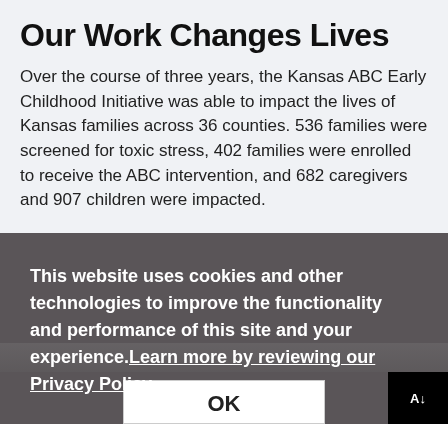Our Work Changes Lives
Over the course of three years, the Kansas ABC Early Childhood Initiative was able to impact the lives of Kansas families across 36 counties. 536 families were screened for toxic stress, 402 families were enrolled to receive the ABC intervention, and 682 caregivers and 907 children were impacted.
This website uses cookies and other technologies to improve the functionality and performance of this site and your experience.Learn more by reviewing our Privacy Policy.
OK